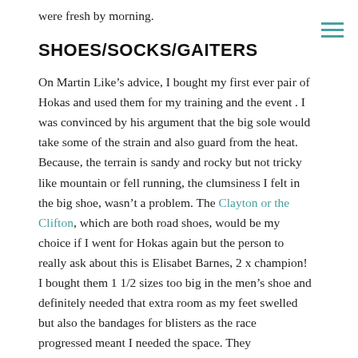were fresh by morning.
SHOES/SOCKS/GAITERS
On Martin Like’s advice, I bought my first ever pair of Hokas and used them for my training and the event . I was convinced by his argument that the big sole would take some of the strain and also guard from the heat. Because, the terrain is sandy and rocky but not tricky like mountain or fell running, the clumsiness I felt in the big shoe, wasn’t a problem. The Clayton or the Clifton, which are both road shoes, would be my choice if I went for Hokas again but the person to really ask about this is Elisabet Barnes, 2 x champion!  I bought them 1 1/2 sizes too big in the men’s shoe and definitely needed that extra room as my feet swelled but also the bandages for blisters as the race progressed meant I needed the space. They